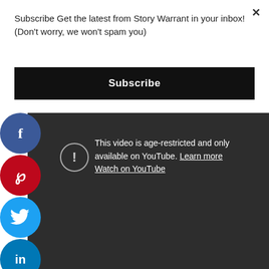Subscribe Get the latest from Story Warrant in your inbox! (Don't worry, we won't spam you)
[Figure (screenshot): Subscribe button — black rectangle with white bold text 'Subscribe']
[Figure (screenshot): Social sharing buttons: Facebook (blue circle, f), Pinterest (red circle, P symbol), Twitter (light blue circle, bird icon), LinkedIn (blue circle, 'in')]
[Figure (screenshot): Dark YouTube embed area showing age-restriction warning with exclamation circle icon and message: 'This video is age-restricted and only available on YouTube. Learn more / Watch on YouTube']